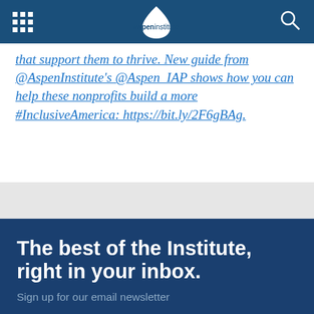Aspen Institute navigation bar with grid menu icon, Aspen Institute logo, and search icon
that support them to thrive. New guide from @AspenInstitute's @Aspen_IAP shows how you can help these nonprofits build a more #InclusiveAmerica: https://bit.ly/2F6gBAg.
The best of the Institute, right in your inbox. Sign up for our email newsletter
Enter your email    SIGN UP